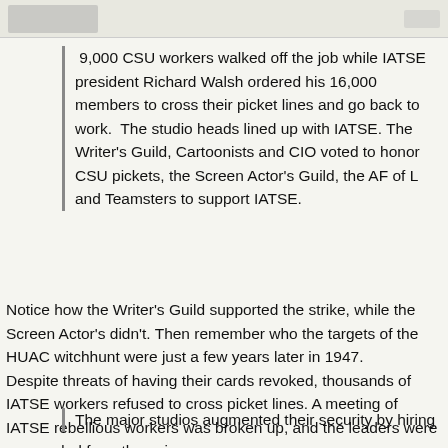[Figure (other): Top banner with grayscale image placeholder on left and small text/image on right]
9,000 CSU workers walked off the job while IATSE president Richard Walsh ordered his 16,000 members to cross their picket lines and go back to work.  The studio heads lined up with IATSE. The Writer's Guild, Cartoonists and CIO voted to honor CSU pickets, the Screen Actor's Guild, the AF of L and Teamsters to support IATSE.
Notice how the Writer's Guild supported the strike, while the Screen Actor's didn't. Then remember who the targets of the HUAC witchhunt were just a few years later in 1947. Despite threats of having their cards revoked, thousands of IATSE workers refused to cross picket lines. A meeting of IATSE rebellious workers was broken up, and the leaders were suspended from the union.
The strike was poorly timed. The studios had 130 films on the shelves - a nine month supply.
The major studios augmented their security by hiring